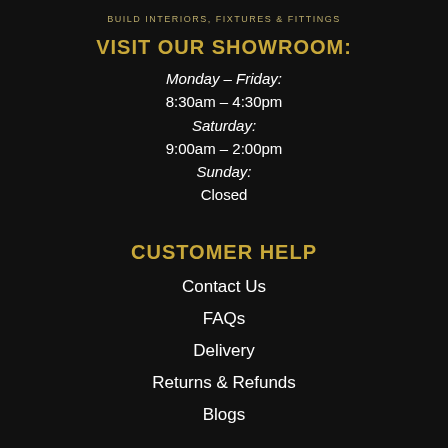BUILD INTERIORS, FIXTURES & FITTINGS
VISIT OUR SHOWROOM:
Monday – Friday:
8:30am – 4:30pm
Saturday:
9:00am – 2:00pm
Sunday:
Closed
CUSTOMER HELP
Contact Us
FAQs
Delivery
Returns & Refunds
Blogs